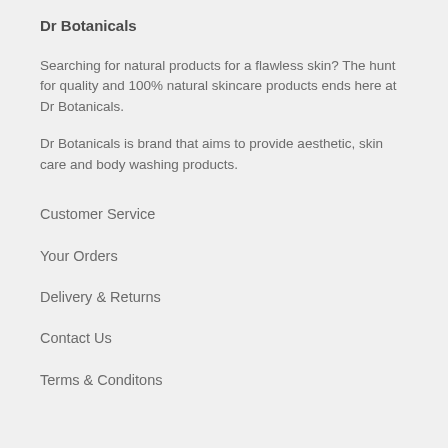Dr Botanicals
Searching for natural products for a flawless skin? The hunt for quality and 100% natural skincare products ends here at Dr Botanicals.
Dr Botanicals is brand that aims to provide aesthetic, skin care and body washing products.
Customer Service
Your Orders
Delivery & Returns
Contact Us
Terms & Conditons